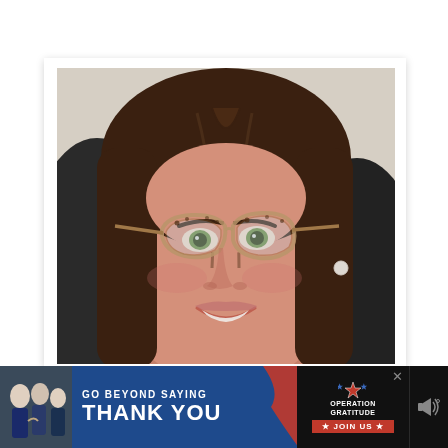[Figure (photo): Close-up selfie photo of a woman with long dark brown hair, wearing cat-eye tortoiseshell glasses, smiling, seated in a dark chair with a light beige wall in background. Photo is displayed in a white polaroid-style frame.]
[Figure (infographic): Advertisement banner at the bottom. Dark background with a thumbnail of military/group photo on left. Blue section with text 'GO BEYOND SAYING THANK YOU' with red swoosh graphic. Operation Gratitude logo on right with star emblem and 'JOIN US' red button. Close X button. Mute icon on far right.]